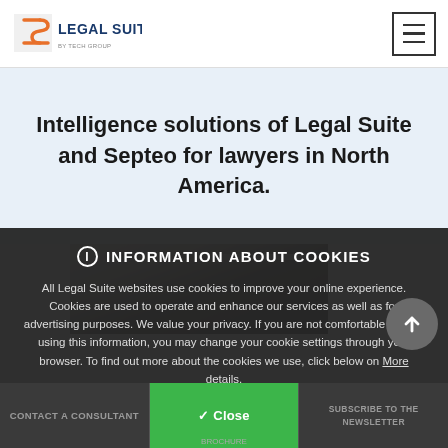LEGAL SUITE
Intelligence solutions of Legal Suite and Septeo for lawyers in North America.
[Figure (photo): Partial view of a person in an office/meeting room setting, partially obscured by cookie overlay]
INFORMATION ABOUT COOKIES
All Legal Suite websites use cookies to improve your online experience. Cookies are used to operate and enhance our services as well as for advertising purposes. We value your privacy. If you are not comfortable with us using this information, you may change your cookie settings through your browser. To find out more about the cookies we use, click below on More details.
CONTACT A CONSULTANT | BROCHURE | SUBSCRIBE TO THE NEWSLETTER